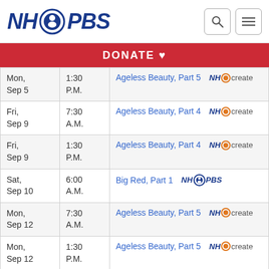NH PBS
| Date | Time | Program | Channel |
| --- | --- | --- | --- |
| Mon, Sep 5 | 1:30 P.M. | Ageless Beauty, Part 5 | NH Create |
| Fri, Sep 9 | 7:30 A.M. | Ageless Beauty, Part 4 | NH Create |
| Fri, Sep 9 | 1:30 P.M. | Ageless Beauty, Part 4 | NH Create |
| Sat, Sep 10 | 6:00 A.M. | Big Red, Part 1 | NH PBS |
| Mon, Sep 12 | 7:30 A.M. | Ageless Beauty, Part 5 | NH Create |
| Mon, Sep 12 | 1:30 P.M. | Ageless Beauty, Part 5 | NH Create |
| Fri, Sep 16 | 7:30 A.M. | Bison Valley, Part 1 | NH Create |